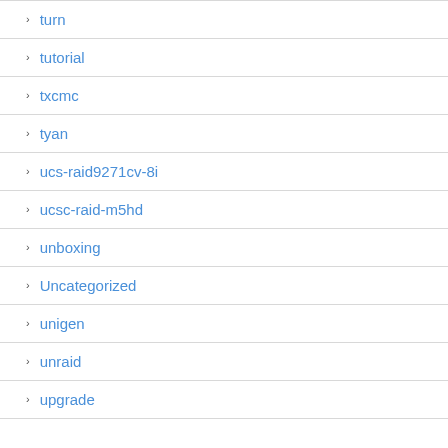turn
tutorial
txcmc
tyan
ucs-raid9271cv-8i
ucsc-raid-m5hd
unboxing
Uncategorized
unigen
unraid
upgrade